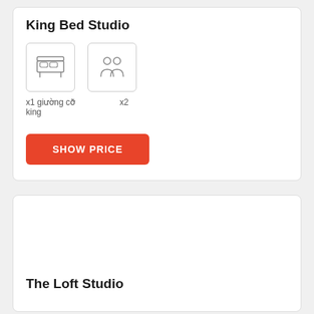King Bed Studio
[Figure (illustration): Icon of a king-size bed inside a rounded rectangle box]
[Figure (illustration): Icon of two people (guests) inside a rounded rectangle box]
x1 giường cỡ king
x2
SHOW PRICE
The Loft Studio